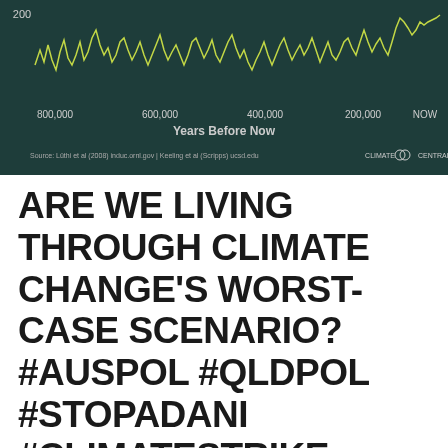[Figure (continuous-plot): A line chart from Climate Central showing CO2 or temperature data over 800,000 years before now. X-axis goes from 800,000 to NOW. Y-axis shows value around 200. A jagged yellow-green line shows historical variation. Dark teal/green background. Source: Lüthi et al (2008) and other references. CLIMATE CENTRAL logo visible.]
ARE WE LIVING THROUGH CLIMATE CHANGE'S WORST-CASE SCENARIO? #AUSPOL #QLDPOL #STOPADANI #CLIMATESTRIKE #EXTINCTIONREBELLION